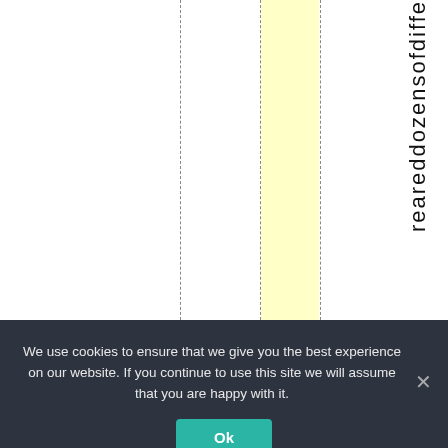[Figure (other): Document layout with vertical dashed column lines, a yellow highlighted column strip, and vertical rotated text reading 'r e a r e d o z e n s o f d i f f e' along the right side.]
We use cookies to ensure that we give you the best experience on our website. If you continue to use this site we will assume that you are happy with it.
Ok